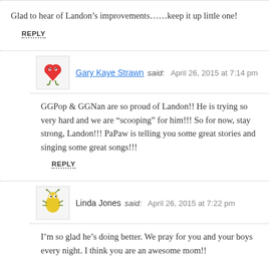Glad to hear of Landon’s improvements……keep it up little one!
REPLY
Gary Kaye Strawn said: April 26, 2015 at 7:14 pm
GGPop & GGNan are so proud of Landon!! He is trying so very hard and we are “scooping” for him!!! So for now, stay strong, Landon!!! PaPaw is telling you some great stories and singing some great songs!!!
REPLY
Linda Jones said: April 26, 2015 at 7:22 pm
I’m so glad he’s doing better. We pray for you and your boys every night. I think you are an awesome mom!!